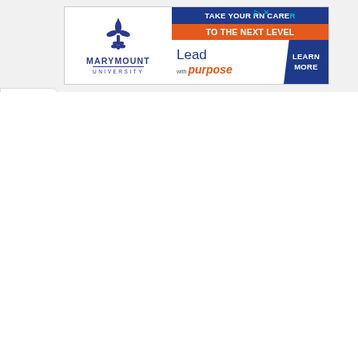[Figure (advertisement): Marymount University advertisement banner. Left side: Marymount University logo (blue fleur-de-lis) with text 'MARYMOUNT UNIVERSITY'. Right side: dark blue bar 'TAKE YOUR RN CAREER', orange bar 'TO THE NEXT LEVEL', then 'Lead with purpose' text and 'LEARN MORE' button.]
[Figure (other): A white collapse/chevron-up button tab on the left side of the page, below the ad banner.]